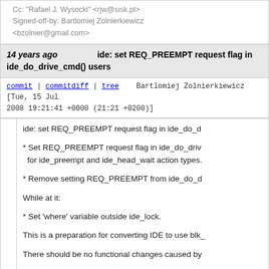Cc: "Rafael J. Wysocki" <rjw@sisk.pl>
Signed-off-by: Bartlomiej Zolnierkiewicz <bzolnier@gmail.com>
14 years ago   ide: set REQ_PREEMPT request flag in ide_do_drive_cmd() users
commit | commitdiff | tree   Bartlomiej Zolnierkiewicz [Tue, 15 Jul 2008 19:21:41 +0000 (21:21 +0200)]
ide: set REQ_PREEMPT request flag in ide_do_d

* Set REQ_PREEMPT request flag in ide_do_driv
  for ide_preempt and ide_head_wait action types.

* Remove setting REQ_PREEMPT from ide_do_d

While at it:

* Set 'where' variable outside ide_lock.

This is a preparation for converting IDE to use blk_

There should be no functional changes caused by

Cc: FUJITA Tomonori <fujita.tomonori@lab.ntt.co.jp>
Cc: Borislav Petkov <petkovbb@gmail.com>
Cc: Jens Axboe <jens.axboe@oracle.com>
Signed-off-by: Bartlomiej Zolnierkiewicz